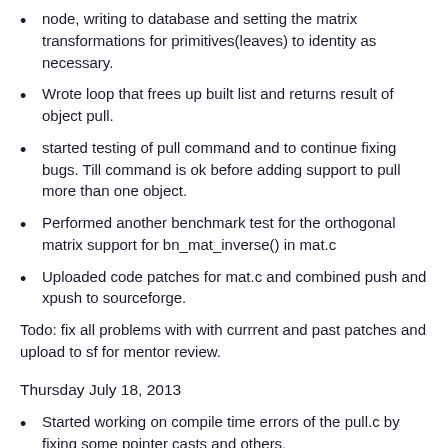node, writing to database and setting the matrix transformations for primitives(leaves) to identity as necessary.
Wrote loop that frees up built list and returns result of object pull.
started testing of pull command and to continue fixing bugs. Till command is ok before adding support to pull more than one object.
Performed another benchmark test for the orthogonal matrix support for bn_mat_inverse() in mat.c
Uploaded code patches for mat.c and combined push and xpush to sourceforge.
Todo: fix all problems with with currrent and past patches and upload to sf for mentor review.
Thursday July 18, 2013
Started working on compile time errors of the pull.c by fixing some pointer casts and others.